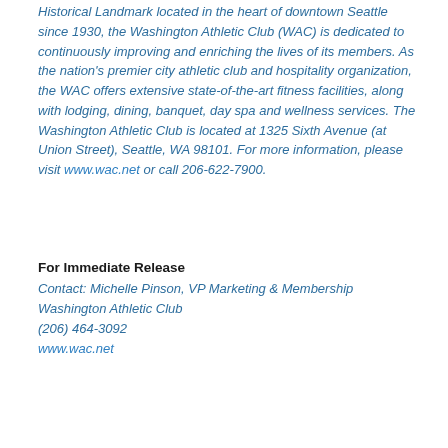Historical Landmark located in the heart of downtown Seattle since 1930, the Washington Athletic Club (WAC) is dedicated to continuously improving and enriching the lives of its members. As the nation's premier city athletic club and hospitality organization, the WAC offers extensive state-of-the-art fitness facilities, along with lodging, dining, banquet, day spa and wellness services. The Washington Athletic Club is located at 1325 Sixth Avenue (at Union Street), Seattle, WA 98101. For more information, please visit www.wac.net or call 206-622-7900.
For Immediate Release
Contact: Michelle Pinson, VP Marketing & Membership Washington Athletic Club (206) 464-3092 www.wac.net